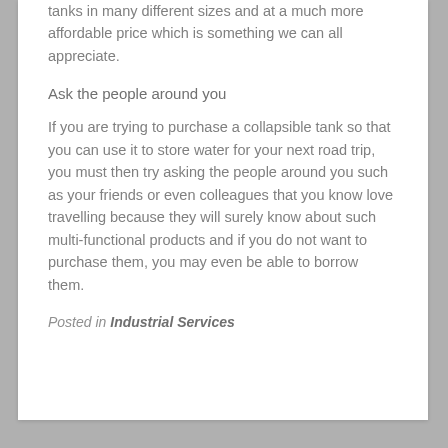tanks in many different sizes and at a much more affordable price which is something we can all appreciate.
Ask the people around you
If you are trying to purchase a collapsible tank so that you can use it to store water for your next road trip, you must then try asking the people around you such as your friends or even colleagues that you know love travelling because they will surely know about such multi-functional products and if you do not want to purchase them, you may even be able to borrow them.
Posted in Industrial Services